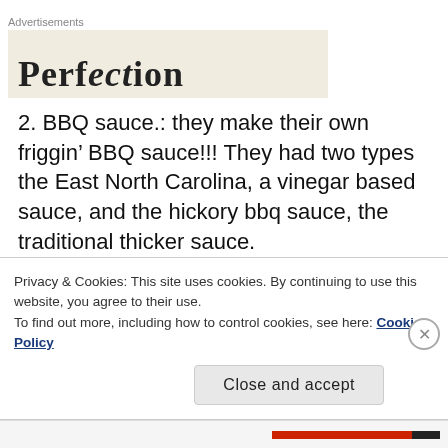Advertisements
[Figure (other): Advertisement banner placeholder with partial bold text visible at bottom]
2. BBQ sauce.: they make their own friggin’ BBQ sauce!!! They had two types the East North Carolina, a vinegar based sauce, and the hickory bbq sauce, the traditional thicker sauce.
3. Other food items: BBQ chicken was a bit tough for
Privacy & Cookies: This site uses cookies. By continuing to use this website, you agree to their use.
To find out more, including how to control cookies, see here: Cookie Policy
Close and accept